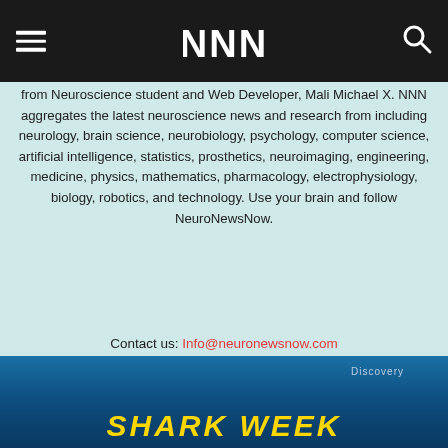NNN (NeuroNewsNow) header with hamburger menu and search icon
from Neuroscience student and Web Developer, Mali Michael X. NNN aggregates the latest neuroscience news and research from including neurology, brain science, neurobiology, psychology, computer science, artificial intelligence, statistics, prosthetics, neuroimaging, engineering, medicine, physics, mathematics, pharmacology, electrophysiology, biology, robotics, and technology. Use your brain and follow NeuroNewsNow.
Contact us: Info@neuronewsnow.com
[Figure (infographic): Social media icons row: Facebook, Instagram, Twitter, Vimeo, YouTube]
[Figure (photo): Discovery Shark Week promotional banner with blue underwater background and yellow SHARK WEEK text]